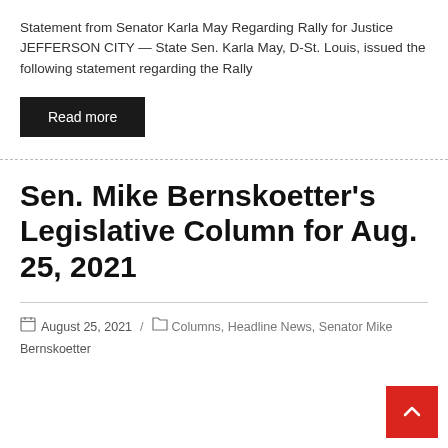Statement from Senator Karla May Regarding Rally for Justice JEFFERSON CITY — State Sen. Karla May, D-St. Louis, issued the following statement regarding the Rally
Read more
Sen. Mike Bernskoetter's Legislative Column for Aug. 25, 2021
August 25, 2021 / Columns, Headline News, Senator Mike Bernskoetter